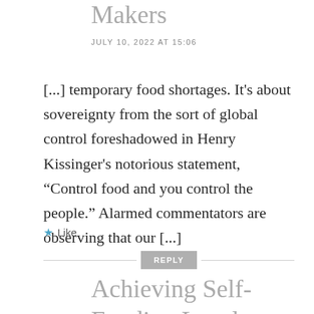Makers
JULY 10, 2022 AT 15:06
[...] temporary food shortages. It's about sovereignty from the sort of global control foreshadowed in Henry Kissinger's notorious statement, “Control food and you control the people.” Alarmed commentators are observing that our [...]
★ Like
REPLY
Achieving Self-
Funding Local